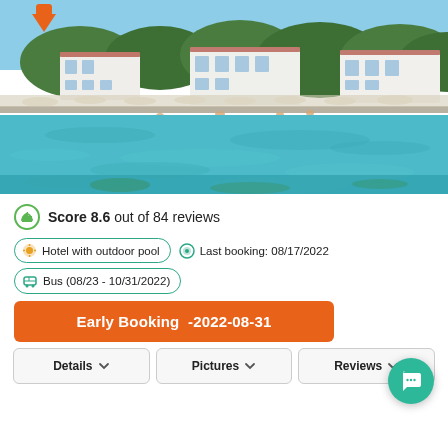[Figure (photo): Aerial/waterfront view of a Mediterranean beach hotel with white buildings, beach umbrellas, and clear turquoise/teal water in the foreground, with green tree-covered hills in the background.]
Score 8.6 out of 84 reviews
Hotel with outdoor pool
Last booking: 08/17/2022
Bus (08/23 - 10/31/2022)
Early Booking -2022-08-31
Details
Pictures
Reviews